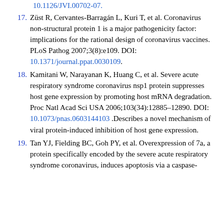10.1126/JVI.00702-07.
17. Züst R, Cervantes-Barragán L, Kuri T, et al. Coronavirus non-structural protein 1 is a major pathogenicity factor: implications for the rational design of coronavirus vaccines. PLoS Pathog 2007;3(8):e109. DOI: 10.1371/journal.ppat.0030109.
18. Kamitani W, Narayanan K, Huang C, et al. Severe acute respiratory syndrome coronavirus nsp1 protein suppresses host gene expression by promoting host mRNA degradation. Proc Natl Acad Sci USA 2006;103(34):12885–12890. DOI: 10.1073/pnas.0603144103 .Describes a novel mechanism of viral protein-induced inhibition of host gene expression.
19. Tan YJ, Fielding BC, Goh PY, et al. Overexpression of 7a, a protein specifically encoded by the severe acute respiratory syndrome coronavirus, induces apoptosis via a caspase-